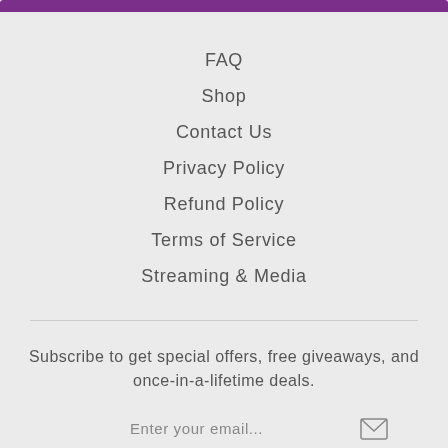FAQ
Shop
Contact Us
Privacy Policy
Refund Policy
Terms of Service
Streaming & Media
Subscribe to get special offers, free giveaways, and once-in-a-lifetime deals.
Enter your email...